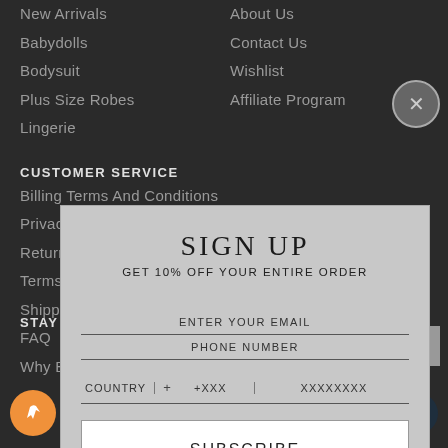New Arrivals
About Us
Babydolls
Contact Us
Bodysuit
Wishlist
Plus Size Robes
Affiliate Program
Lingerie
CUSTOMER SERVICE
Billing Terms And Conditions
Privacy Policy
Returns And Refunds
Terms and Conditions
Shipping Information
FAQ
Why Buy From Us
STAY CONNECTED
[Figure (screenshot): Sign up modal with email and phone number fields and subscribe button. Title: SIGN UP. Subtitle: GET 10% OFF YOUR ENTIRE ORDER. Fields: ENTER YOUR EMAIL, PHONE NUMBER with COUNTRY, +XXX, XXXXXXXX. Button: SUBSCRIBE.]
Powered by omnisend
Chat with us